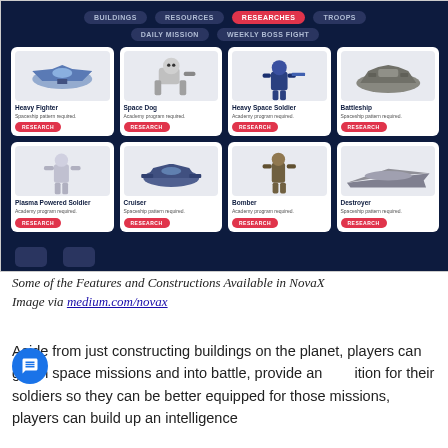[Figure (screenshot): Screenshot of NovaX game UI showing the Researches tab with a grid of researchable units: Heavy Fighter, Space Dog, Heavy Space Soldier, Battleship (top row); Plasma Powered Soldier, Cruiser, Bomber, Destroyer (bottom row). Each card has an image, name, requirement text, and a red RESEARCH button. Navigation tabs at top include BUILDINGS, RESOURCES, RESEARCHES (active/red), TROOPS, DAILY MISSION, WEEKLY BOSS FIGHT.]
Some of the Features and Constructions Available in NovaX
Image via medium.com/novax
Aside from just constructing buildings on the planet, players can go on space missions and into battle, provide an education for their soldiers so they can be better equipped for those missions, players can build up an intelligence